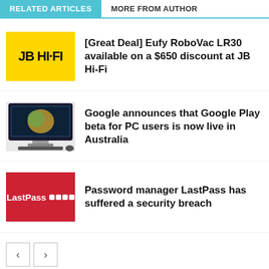RELATED ARTICLES | MORE FROM AUTHOR
[Figure (logo): JB HI-FI yellow logo thumbnail]
[Great Deal] Eufy RoboVac LR30 available on a $650 discount at JB Hi-Fi
[Figure (screenshot): Desktop computer with Google Play screenshot]
Google announces that Google Play beta for PC users is now live in Australia
[Figure (logo): LastPass red logo thumbnail with password dots]
Password manager LastPass has suffered a security breach
Sponsored Content
Outbrain